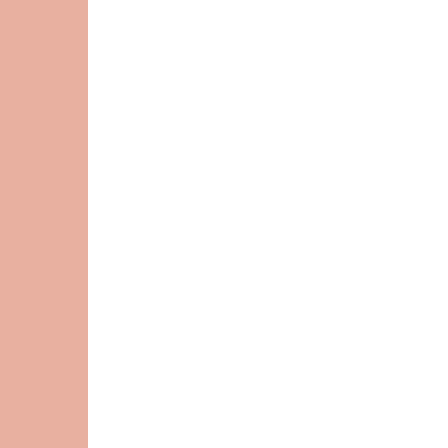[Figure (photo): A black plastic pot containing peony roots/plants with soil, sitting on what appears to a wooden deck or surface, viewed from above and slightly to the side.]
Herbac…
The prices for th… root from a grow… peony root last y… really have to wa… planning to buy a… bloom their first … won't bloom for … These potted peo… likely continue to… in a location whe…
[Figure (photo): Peonies or plants in containers on a shelf or rack in a nursery or garden center.]